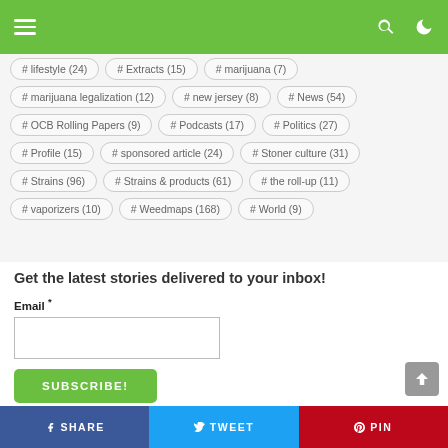Navigation bar with menu, search and theme toggle
# lifestyle (24), # Extracts (15), # marijuana (7)
# marijuana legalization (12), # new jersey (8), # News (54)
# OCB Rolling Papers (9), # Podcasts (17), # Politics (27)
# Profile (15), # sponsored article (24), # Stoner culture (31)
# Strains (96), # Strains & products (61), # the roll-up (11)
# vaporizers (10), # Weedmaps (168), # World (9)
Get the latest stories delivered to your inbox!
Email *
SHARE  TWEET  PIN